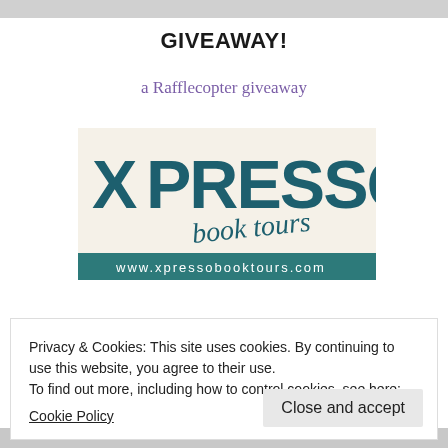GIVEAWAY!
a Rafflecopter giveaway
[Figure (logo): Xpresso Book Tours logo with stylized XPRESSO text in teal on cream background and 'book tours' in script, with website www.xpressobooktours.com on a dark teal banner below]
Release Publicity: Mainstream
Privacy & Cookies: This site uses cookies. By continuing to use this website, you agree to their use.
To find out more, including how to control cookies, see here:
Cookie Policy
Close and accept